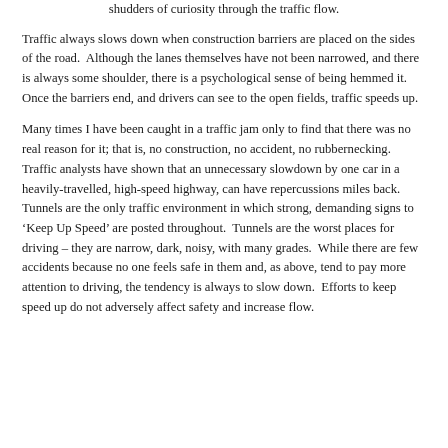shudders of curiosity through the traffic flow.
Traffic always slows down when construction barriers are placed on the sides of the road.  Although the lanes themselves have not been narrowed, and there is always some shoulder, there is a psychological sense of being hemmed it.  Once the barriers end, and drivers can see to the open fields, traffic speeds up.
Many times I have been caught in a traffic jam only to find that there was no real reason for it; that is, no construction, no accident, no rubbernecking.  Traffic analysts have shown that an unnecessary slowdown by one car in a heavily-travelled, high-speed highway, can have repercussions miles back.  Tunnels are the only traffic environment in which strong, demanding signs to ‘Keep Up Speed’ are posted throughout.  Tunnels are the worst places for driving – they are narrow, dark, noisy, with many grades.  While there are few accidents because no one feels safe in them and, as above, tend to pay more attention to driving, the tendency is always to slow down.  Efforts to keep speed up do not adversely affect safety and increase flow.